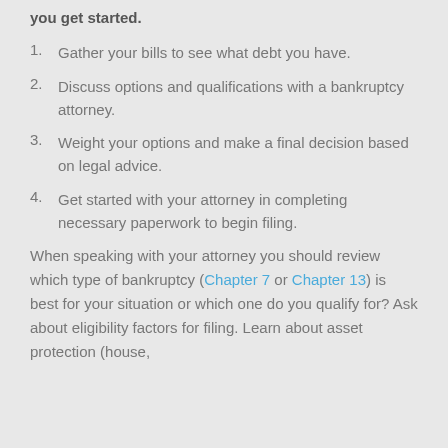you get started.
1. Gather your bills to see what debt you have.
2. Discuss options and qualifications with a bankruptcy attorney.
3. Weight your options and make a final decision based on legal advice.
4. Get started with your attorney in completing necessary paperwork to begin filing.
When speaking with your attorney you should review which type of bankruptcy (Chapter 7 or Chapter 13) is best for your situation or which one do you qualify for? Ask about eligibility factors for filing. Learn about asset protection (house,